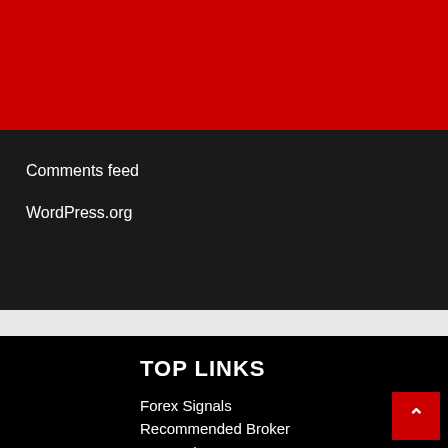ACE FOREX SIGNALS
Comments feed
WordPress.org
TOP LINKS
Forex Signals
Recommended Broker
Forex Charts
How It Looks